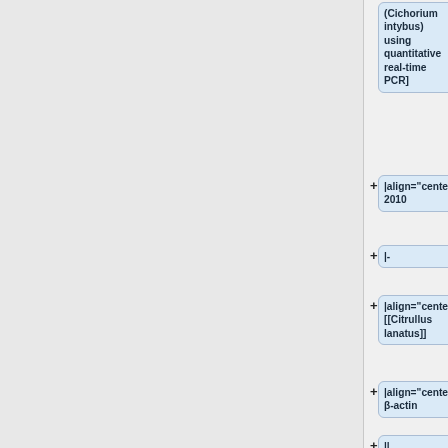(Cichorium intybus) using quantitative real-time PCR]
|align="center"| 2010
|-
|align="center"| [[Citrullus lanatus]]
|align="center"| β-actin
||
* "Fruit Development"
||
*